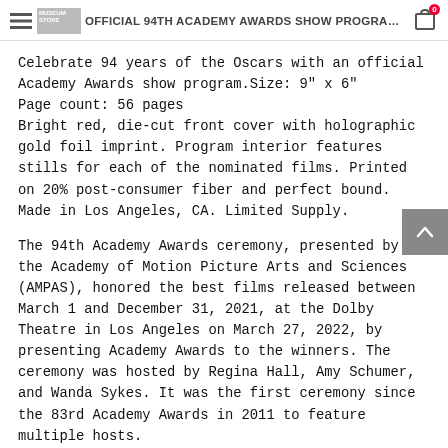THE OFFICIAL 94TH ACADEMY AWARDS SHOW PROGRAM 2022 | MUSEUM STORE
Celebrate 94 years of the Oscars with an official Academy Awards show program.Size: 9" x 6"
Page count: 56 pages
Bright red, die-cut front cover with holographic gold foil imprint. Program interior features stills for each of the nominated films. Printed on 20% post-consumer fiber and perfect bound. Made in Los Angeles, CA. Limited Supply.
The 94th Academy Awards ceremony, presented by the Academy of Motion Picture Arts and Sciences (AMPAS), honored the best films released between March 1 and December 31, 2021, at the Dolby Theatre in Los Angeles on March 27, 2022, by presenting Academy Awards to the winners. The ceremony was hosted by Regina Hall, Amy Schumer, and Wanda Sykes. It was the first ceremony since the 83rd Academy Awards in 2011 to feature multiple hosts.
CODA won all three awards it was nominated for, including Best Picture, becoming the first film distributed by a streaming service